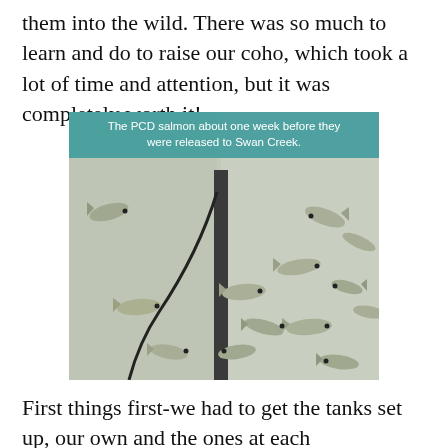them into the wild. There was so much to learn and do to raise our coho, which took a lot of time and attention, but it was completely worth it!
[Figure (photo): Photo of small coho salmon fish in a tank, approximately one week before being released to Swan Creek. Multiple small silver fish are visible swimming in the water. A teal banner overlay at the top reads: 'The PCD salmon about one week before they were released to Swan Creek.']
The PCD salmon about one week before they were released to Swan Creek.
First things first-we had to get the tanks set up, our own and the ones at each participating